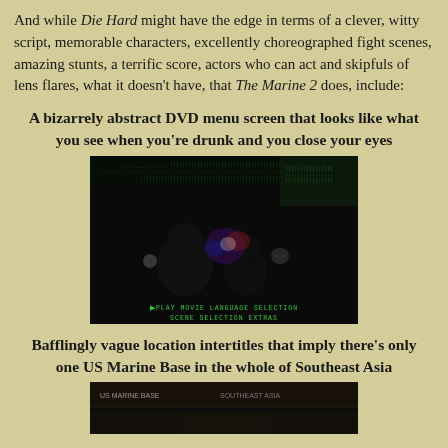And while Die Hard might have the edge in terms of a clever, witty script, memorable characters, excellently choreographed fight scenes, amazing stunts, a terrific score, actors who can act and skipfuls of lens flares, what it doesn't have, that The Marine 2 does, include:
A bizarrely abstract DVD menu screen that looks like what you see when you're drunk and you close your eyes
[Figure (screenshot): Dark DVD menu screen showing a blurry, abstract background with green digital rain effect and silhouetted figures. Menu options visible: PLAY MOVIE, LANGUAGE SELECTION, SCENE SELECTION, EXTRAS]
Bafflingly vague location intertitles that imply there's only one US Marine Base in the whole of Southeast Asia
[Figure (screenshot): Dark screenshot showing a location intertitle from The Marine 2]